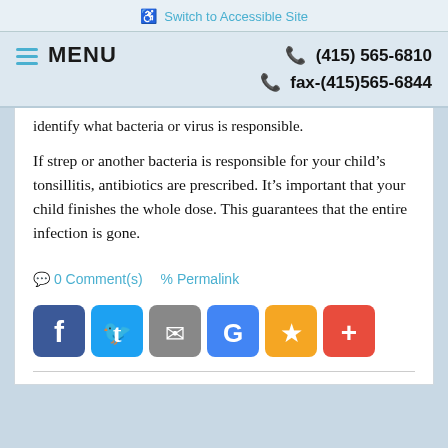♿ Switch to Accessible Site
≡ MENU   📞 (415) 565-6810   📞 fax-(415)565-6844
identify what bacteria or virus is responsible.
If strep or another bacteria is responsible for your child's tonsillitis, antibiotics are prescribed. It's important that your child finishes the whole dose. This guarantees that the entire infection is gone.
💬 0 Comment(s)   🔗 Permalink
[Figure (infographic): Social share buttons: Facebook (blue), Twitter (blue), Email (gray), Google (blue), Star/Bookmark (yellow/orange), Plus (red)]